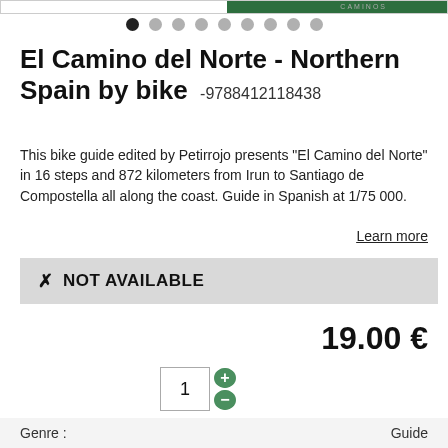[Figure (illustration): Top partial image strip showing a green book cover]
El Camino del Norte - Northern Spain by bike  -9788412118438
This bike guide edited by Petirrojo presents "El Camino del Norte" in 16 steps and 872 kilometers from Irun to Santiago de Compostella all along the coast. Guide in Spanish at 1/75 000.
Learn more
✗ NOT AVAILABLE
19.00 €
| Genre : | Guide |
| --- | --- |
| Language : | Spanish |